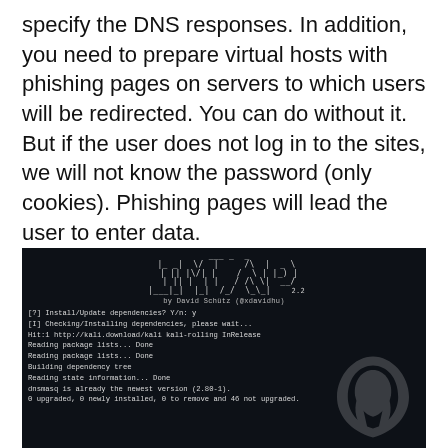specify the DNS responses. In addition, you need to prepare virtual hosts with phishing pages on servers to which users will be redirected. You can do without it. But if the user does not log in to the sites, we will not know the password (only cookies). Phishing pages will lead the user to enter data.
[Figure (screenshot): Terminal screenshot showing linset/AP tool v2.2 by David Schütz (@xdavidhu) running on Kali Linux, with dependency installation output including package list reading, dependency tree building, state information reading, and dnsmasq version check.]